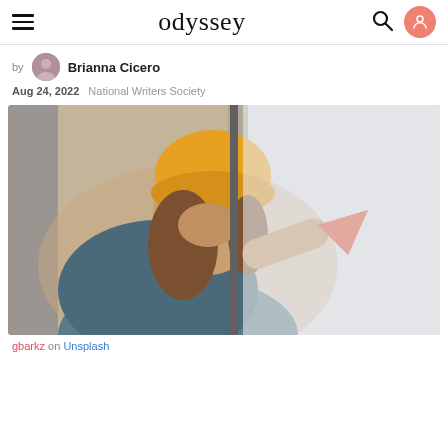odyssey
by Brianna Cicero
Aug 24, 2022  National Writers Society
[Figure (photo): Young woman wearing a yellow beanie hat eating a slice of pizza inside a car, wearing a denim jacket, smiling]
gbarkz on Unsplash